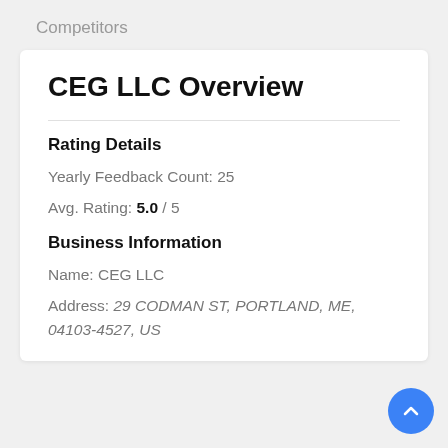Competitors
CEG LLC Overview
Rating Details
Yearly Feedback Count: 25
Avg. Rating: 5.0 / 5
Business Information
Name: CEG LLC
Address: 29 CODMAN ST, PORTLAND, ME, 04103-4527, US